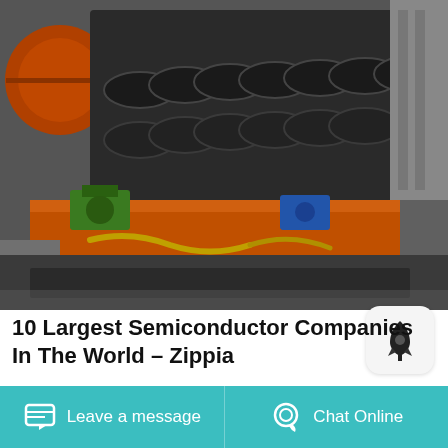[Figure (photo): Industrial machinery photograph showing a large screw conveyor or spiral classifier with orange metal frame and black spiral auger components, with other heavy equipment visible in the background]
10 Largest Semiconductor Companies In The World – Zippia
Jaw crusher manufacturer in China,suppliers,exporter,for sale … Jaw Crusher Introduction. liming is a world famous jaw crusher manufacturer in China. Based…
Leave a message   Chat Online